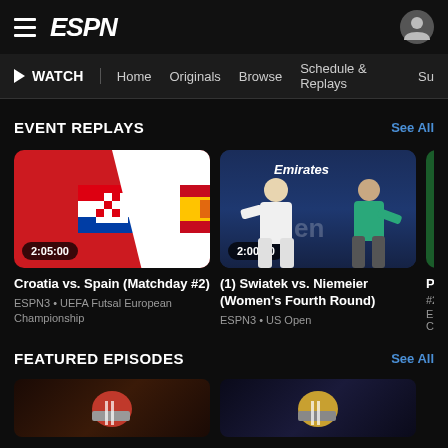ESPN
WATCH | Home | Originals | Browse | Schedule & Replays
EVENT REPLAYS
See All
[Figure (screenshot): Croatia vs Spain match replay thumbnail with Croatian and Spanish flags, duration 2:05:00]
Croatia vs. Spain (Matchday #2)
ESPN3 • UEFA Futsal European Championship
[Figure (screenshot): Tennis match thumbnail showing two players with Emirates branding, duration 2:00:00]
(1) Swiatek vs. Niemeier (Women's Fourth Round)
ESPN3 • US Open
FEATURED EPISODES
See All